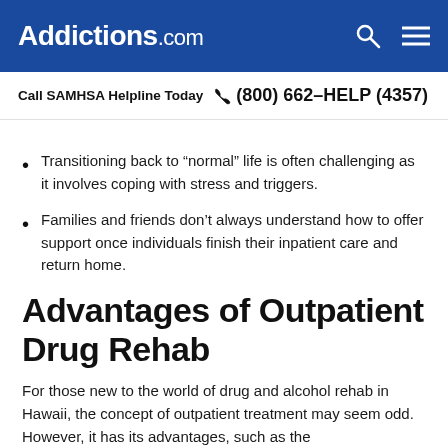Addictions.com
Call SAMHSA Helpline Today  (800) 662-HELP (4357)
Transitioning back to “normal” life is often challenging as it involves coping with stress and triggers.
Families and friends don’t always understand how to offer support once individuals finish their inpatient care and return home.
Advantages of Outpatient Drug Rehab
For those new to the world of drug and alcohol rehab in Hawaii, the concept of outpatient treatment may seem odd. However, it has its advantages, such as the